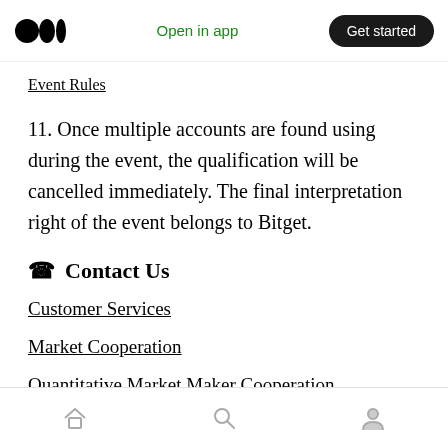Open in app  Get started
Event Rules
11. Once multiple accounts are found using during the event, the qualification will be cancelled immediately. The final interpretation right of the event belongs to Bitget.
☎ Contact Us
Customer Services
Market Cooperation
Quantitative Market Maker Cooperation
Home  Search  Profile